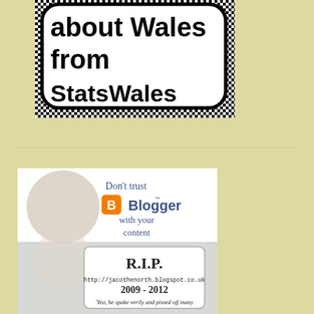[Figure (logo): StatsWales logo: speech bubble with checkerboard border containing bold text 'about Wales from StatsWales']
[Figure (infographic): Anti-Blogger infographic with crying baby image, text 'Don't trust Blogger with your content', Blogger logo, and tombstone showing R.I.P. http://jacothenorth.blogspot.co.uk 2009-2012 with quote 'Yea, he spake verily and pissed off many']